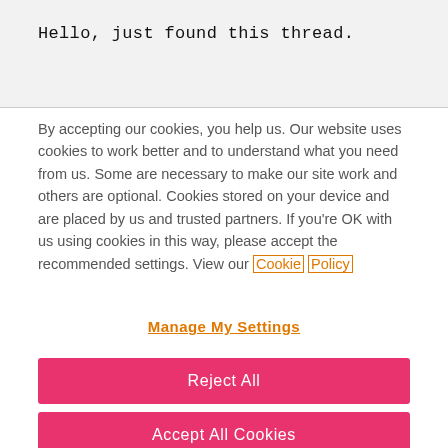Hello, just found this thread.
By accepting our cookies, you help us. Our website uses cookies to work better and to understand what you need from us. Some are necessary to make our site work and others are optional. Cookies stored on your device and are placed by us and trusted partners. If you're OK with us using cookies in this way, please accept the recommended settings. View our Cookie Policy
Manage My Settings
Reject All
Accept All Cookies